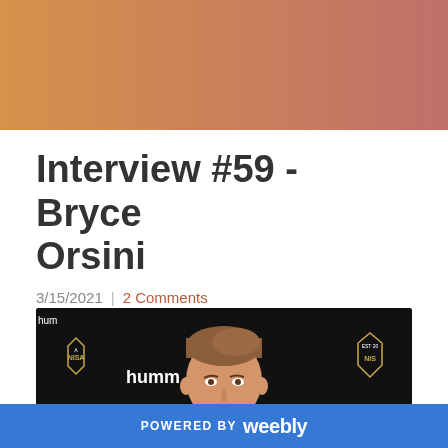[Figure (illustration): Gradient header banner from orange-gold on the left to muted rose-red on the right]
Interview #59 - Bryce Orsini
3/15/2021  |  2 Comments
[Figure (photo): Young man with short brown hair photographed in front of a dark step-and-repeat banner featuring Hummel and NISA logos and Maryland Bobcats FC crests]
POWERED BY  weebly